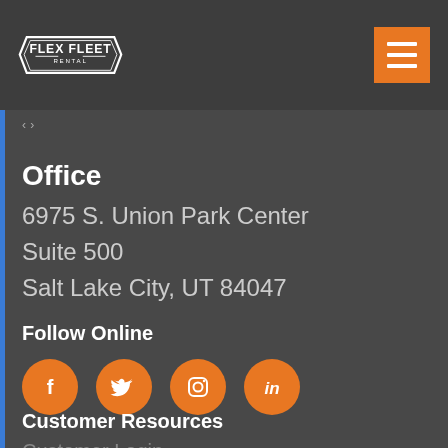[Figure (logo): Flex Fleet Rental logo in white on dark background, hexagonal badge shape]
[Figure (other): Orange hamburger menu button (three horizontal lines) in top right corner]
< >
Office
6975 S. Union Park Center
Suite 500
Salt Lake City, UT 84047
Follow Online
[Figure (other): Four orange circular social media icons: Facebook, Twitter, Instagram, LinkedIn]
Customer Resources
Customer Login